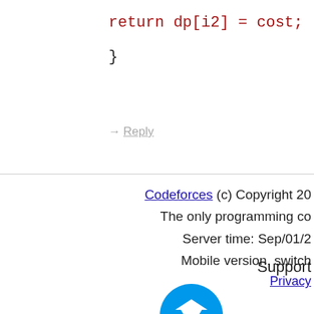return dp[i2] = cost;
    }
→ Reply
Codeforces (c) Copyright 20...
The only programming co...
Server time: Sep/01/2...
Mobile version, switch...
Privacy ...
Support